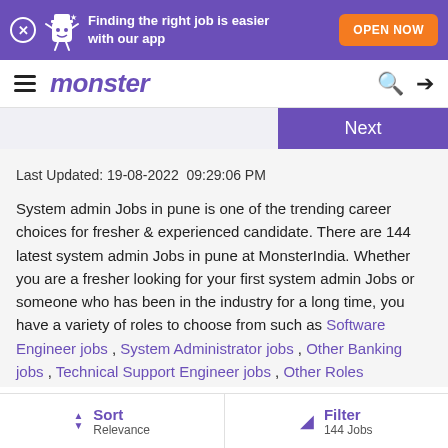Finding the right job is easier with our app  OPEN NOW
monster
Next
Last Updated: 19-08-2022  09:29:06 PM
System admin Jobs in pune is one of the trending career choices for fresher & experienced candidate. There are 144 latest system admin Jobs in pune at MonsterIndia. Whether you are a fresher looking for your first system admin Jobs or someone who has been in the industry for a long time, you have a variety of roles to choose from such as Software Engineer jobs , System Administrator jobs , Other Banking jobs , Technical Support Engineer jobs , Other Roles
Sort Relevance  Filter 144 Jobs